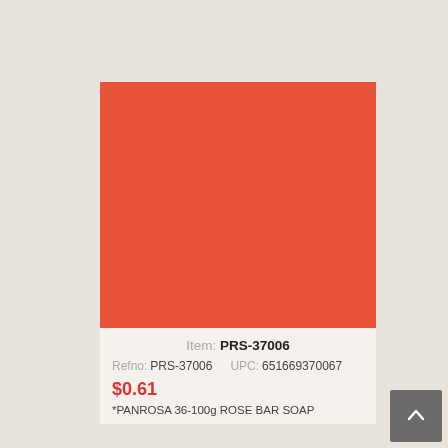[Figure (photo): Solid coral/orange-red colored rectangle representing a product image placeholder for a rose bar soap product]
Item: PRS-37006
Refno: PRS-37006   UPC: 651669370067
$0.61
*PANROSA 36-100g ROSE BAR SOAP